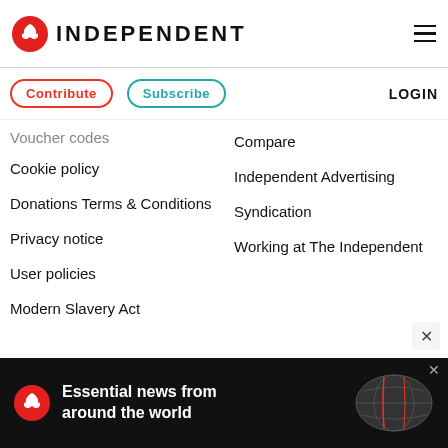INDEPENDENT
Contribute
Subscribe
LOGIN
Voucher codes
Cookie policy
Compare
Donations Terms & Conditions
Independent Advertising
Privacy notice
Syndication
User policies
Working at The Independent
Modern Slavery Act
[Figure (infographic): Advertisement banner: Independent logo with text 'Essential news from around the world' on black background with globe graphic]